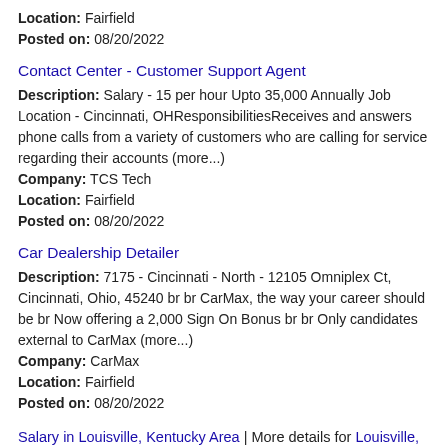Location: Fairfield
Posted on: 08/20/2022
Contact Center - Customer Support Agent
Description: Salary - 15 per hour Upto 35,000 Annually Job Location - Cincinnati, OHResponsibilitiesReceives and answers phone calls from a variety of customers who are calling for service regarding their accounts (more...)
Company: TCS Tech
Location: Fairfield
Posted on: 08/20/2022
Car Dealership Detailer
Description: 7175 - Cincinnati - North - 12105 Omniplex Ct, Cincinnati, Ohio, 45240 br br CarMax, the way your career should be br Now offering a 2,000 Sign On Bonus br br Only candidates external to CarMax (more...)
Company: CarMax
Location: Fairfield
Posted on: 08/20/2022
Salary in Louisville, Kentucky Area | More details for Louisville, Kentucky Jobs |Salary